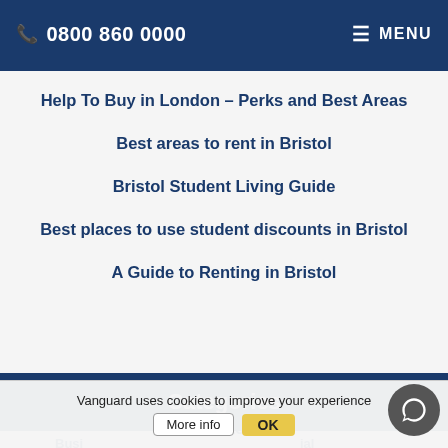0800 860 0000  MENU
Help To Buy in London – Perks and Best Areas
Best areas to rent in Bristol
Bristol Student Living Guide
Best places to use student discounts in Bristol
A Guide to Renting in Bristol
Categories
Bristol
Business / Commercial
Vanguard uses cookies to improve your experience
More info  OK